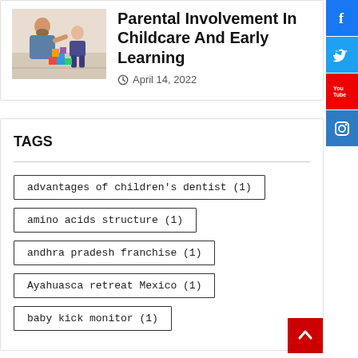[Figure (photo): A man and a young child playing with colorful building blocks together indoors.]
Parental Involvement In Childcare And Early Learning
April 14, 2022
TAGS
advantages of children's dentist (1)
amino acids structure (1)
andhra pradesh franchise (1)
Ayahuasca retreat Mexico (1)
baby kick monitor (1)